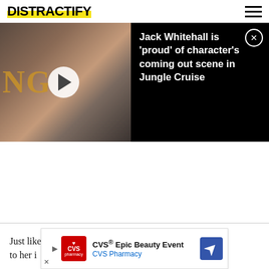DISTRACTIFY
[Figure (screenshot): Video player showing Jack Whitehall with play button overlay on left half, and black panel with title text on right half]
Jack Whitehall is 'proud' of character's coming out scene in Jungle Cruise
Just like ... thanks to her ...
[Figure (photo): CVS Epic Beauty Event advertisement banner with CVS Pharmacy logo and navigation icon]